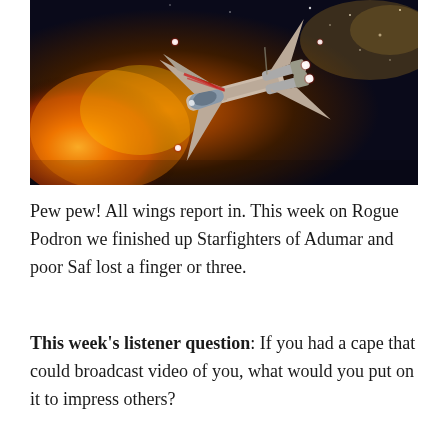[Figure (illustration): Star Wars X-Wing starfighter in space with orange explosion in background, dark space with stars, dramatic action scene artwork]
Pew pew! All wings report in. This week on Rogue Podron we finished up Starfighters of Adumar and poor Saf lost a finger or three.
This week's listener question: If you had a cape that could broadcast video of you, what would you put on it to impress others?